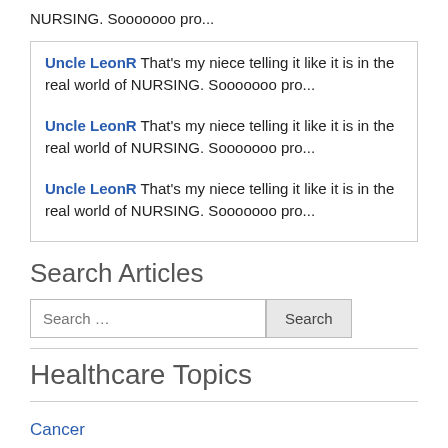NURSING. Sooooooo pro...
Uncle LeonR That's my niece telling it like it is in the real world of NURSING. Sooooooo pro...
Uncle LeonR That's my niece telling it like it is in the real world of NURSING. Sooooooo pro...
Uncle LeonR That's my niece telling it like it is in the real world of NURSING. Sooooooo pro...
Search Articles
Search ...
Healthcare Topics
Cancer
Children's Health
Featured
Food & Nutritio...